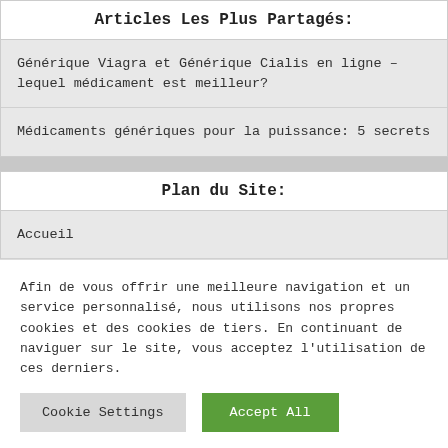Articles Les Plus Partagés:
Générique Viagra et Générique Cialis en ligne – lequel médicament est meilleur?
Médicaments génériques pour la puissance: 5 secrets
Plan du Site:
Accueil
A Propos de Nous
Afin de vous offrir une meilleure navigation et un service personnalisé, nous utilisons nos propres cookies et des cookies de tiers. En continuant de naviguer sur le site, vous acceptez l'utilisation de ces derniers.
Cookie Settings | Accept All